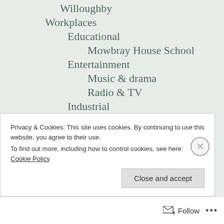Willoughby
Workplaces
Educational
Mowbray House School
Entertainment
Music & drama
Radio & TV
Industrial
Brickmaking
Buzza
Cascade Cordials Limited
Speedo Knitting Mills
Willoughby's Tanneries
Privacy & Cookies: This site uses cookies. By continuing to use this website, you agree to their use. To find out more, including how to control cookies, see here: Cookie Policy
Close and accept
Follow